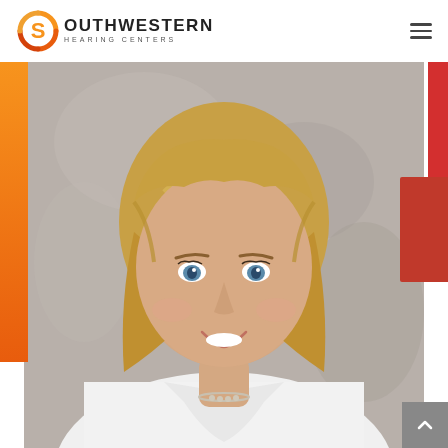Southwestern Hearing Centers — navigation header with logo and hamburger menu
[Figure (photo): Professional headshot of a smiling woman with blonde hair wearing a white lab coat, set against a gray studio background. Orange vertical bar on left edge and red decorative bars on right edge.]